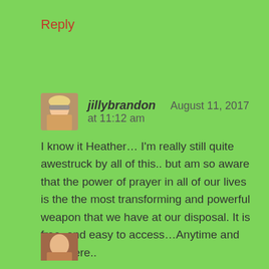Reply
[Figure (photo): Avatar photo of jillybrandon, a woman with sunglasses and blonde hair]
jillybrandon   August 11, 2017 at 11:12 am
I know it Heather… I'm really still quite awestruck by all of this.. but am so aware that the power of prayer in all of our lives is the the most transforming and powerful weapon that we have at our disposal. It is free, and easy to access…Anytime and anywhere..
★ Like
Reply
[Figure (photo): Partial avatar photo at bottom of page, cropped]